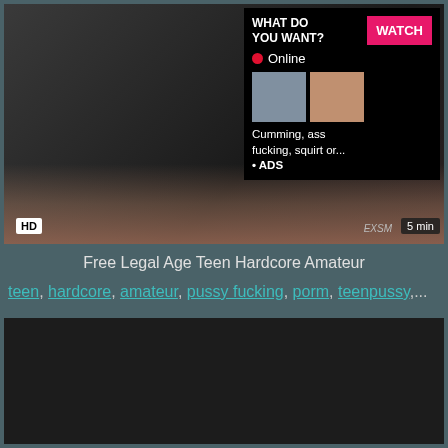[Figure (screenshot): Video thumbnail with advertisement overlay showing 'WHAT DO YOU WANT?' text, WATCH button, Online status, thumbnails, and text 'Cumming, ass fucking, squirt or... ADS'. HD badge and 5 min duration visible.]
Free Legal Age Teen Hardcore Amateur
teen, hardcore, amateur, pussy fucking, porm, teenpussy,...
[Figure (screenshot): Dark/black video thumbnail placeholder]